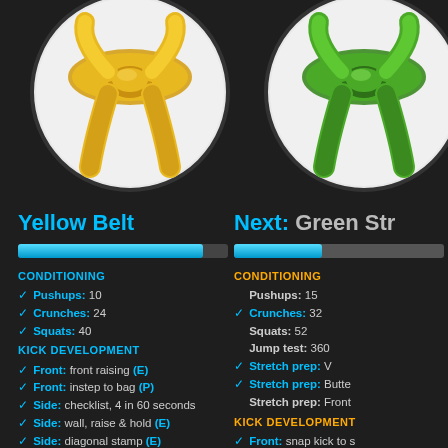[Figure (illustration): Yellow belt karate belt icon in a circle]
[Figure (illustration): Green belt karate belt icon in a circle (partially visible)]
Yellow Belt
Next: Green Str...
CONDITIONING
✓ Pushups: 10
✓ Crunches: 24
✓ Squats: 40
KICK DEVELOPMENT
✓ Front: front raising (E)
✓ Front: instep to bag (P)
✓ Side: checklist, 4 in 60 seconds
✓ Side: wall, raise & hold (E)
✓ Side: diagonal stamp (E)
✓ Side: reclining (E)
CONDITIONING
Pushups: 15
✓ Crunches: 32
Squats: 52
Jump test: 360
✓ Stretch prep: V
✓ Stretch prep: Butte...
Stretch prep: Front...
KICK DEVELOPMENT
✓ Front: snap kick to s...
✓ Side: checklist, 4 in...